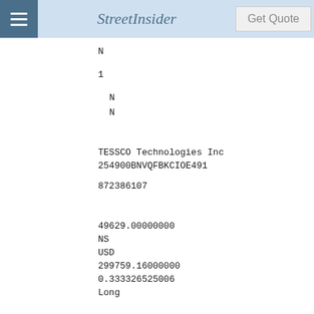StreetInsider | Get Quote
N
1
N
N
TESSCO Technologies Inc
254900BNVQFBKCIOE491
872386107
49629.00000000
NS
USD
299759.16000000
0.333326525006
Long